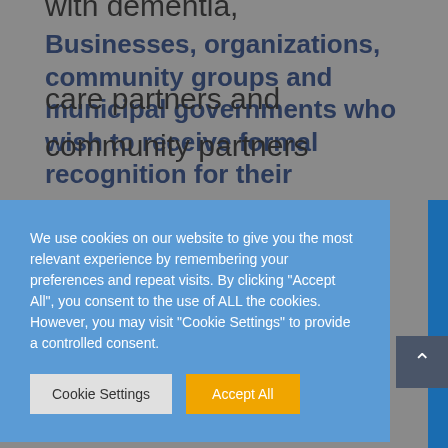Businesses, organizations, community groups and municipal governments who wish to receive formal recognition for their
We use cookies on our website to give you the most relevant experience by remembering your preferences and repeat visits. By clicking “Accept All”, you consent to the use of ALL the cookies. However, you may visit "Cookie Settings" to provide a controlled consent.
alongside people living with dementia, care partners and community partners as we work toward building dementia friendly communities. We have learned